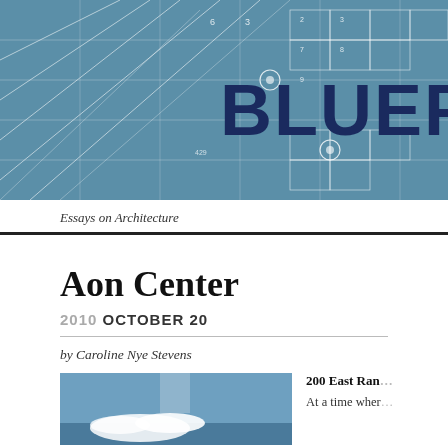[Figure (illustration): Blueprint-style architectural map with grid lines, lot numbers, and parcel divisions in white lines on a blue background. Large bold dark blue text reading 'BLUEPRI' (truncated) overlaid on the map.]
Essays on Architecture
Aon Center
2010 OCTOBER 20
by Caroline Nye Stevens
[Figure (photo): Photograph showing the top of the Aon Center skyscraper against a blue sky with white clouds.]
200 East Ran
At a time wher